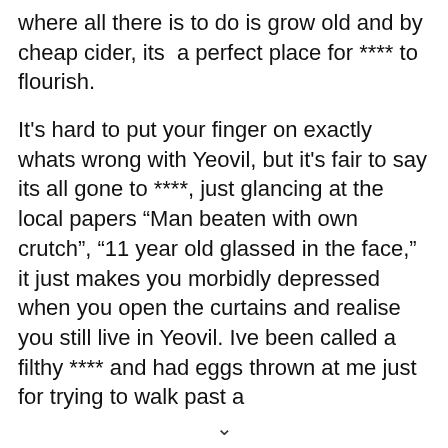where all there is to do is grow old and by cheap cider, its  a perfect place for **** to flourish.
It's hard to put your finger on exactly whats wrong with Yeovil, but it's fair to say its all gone to ****, just glancing at the local papers “Man beaten with own crutch”, “11 year old glassed in the face,” it just makes you morbidly depressed when you open the curtains and realise you still live in Yeovil. Ive been called a filthy **** and had eggs thrown at me just for trying to walk past a